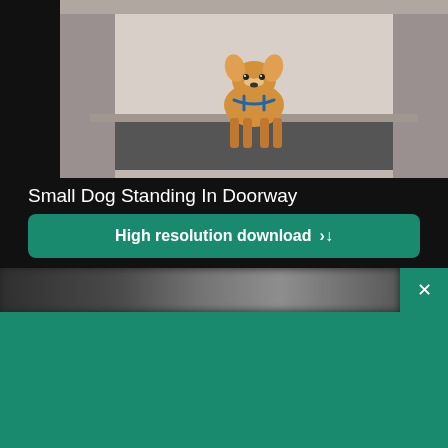[Figure (photo): A small dog (Corgi) standing in a doorway on a dark mat, viewed from the front, with a harness on.]
Small Dog Standing In Doorway
High resolution download ↓
[Figure (screenshot): Blurred row of images below the main image]
×
[Figure (logo): Shopify logo — shopping bag icon with 's' and 'shopify' wordmark in white]
Need an online store for your business?
Start free trial